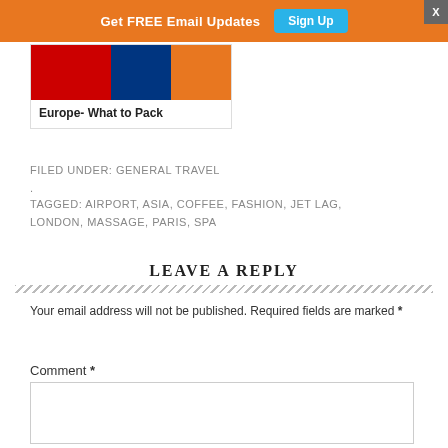[Figure (screenshot): Orange banner with 'Get FREE Email Updates' text and a teal 'Sign Up' button, plus a gray X close button]
[Figure (screenshot): Book or product card with colorful striped image at top and bold text 'Europe- What to Pack' below]
FILED UNDER: GENERAL TRAVEL
.
TAGGED: AIRPORT, ASIA, COFFEE, FASHION, JET LAG, LONDON, MASSAGE, PARIS, SPA
LEAVE A REPLY
Your email address will not be published. Required fields are marked *
Comment *